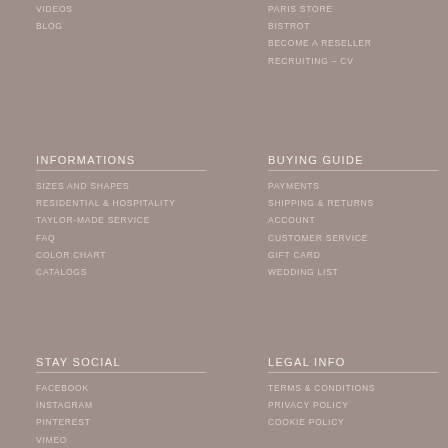VIDEOS
BLOG
PARIS STORE
BISTROT
BECOME A RESELLER
RECRUITING – CV
INFORMATIONS
SIZES AND SHAPES
RESIDENTIAL & HOSPITALITY
TAYLOR-MADE SERVICE
FAQ
COLOR CHART
CATALOGS
BUYING GUIDE
PAYMENTS
SHIPPING & RETURNS
ACCOUNT
CUSTOMER SERVICE
GIFT CARD
WEDDING LIST
STAY SOCIAL
FACEBOOK
INSTAGRAM
PINTEREST
VIMEO
LEGAL INFO
TERMS & CONDITIONS
PRIVACY POLICY
COOKIE POLICY